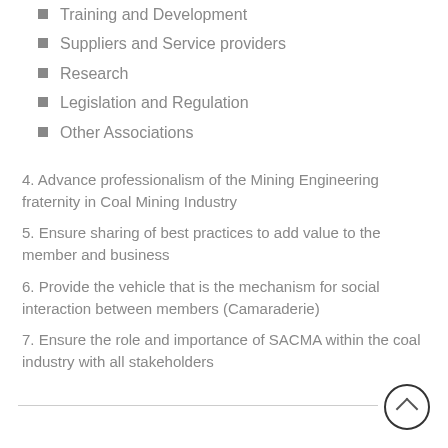Training and Development
Suppliers and Service providers
Research
Legislation and Regulation
Other Associations
4. Advance professionalism of the Mining Engineering fraternity in Coal Mining Industry
5. Ensure sharing of best practices to add value to the member and business
6. Provide the vehicle that is the mechanism for social interaction between members (Camaraderie)
7. Ensure the role and importance of SACMA within the coal industry with all stakeholders